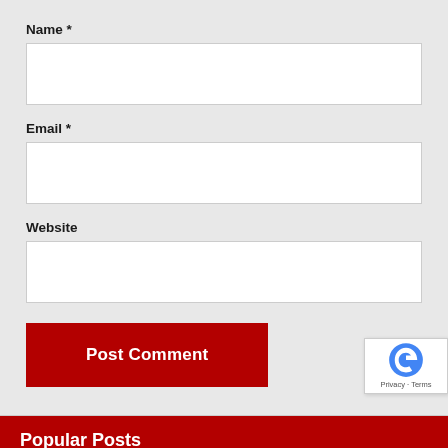Name *
[Figure (screenshot): Text input field for Name (empty, white background)]
Email *
[Figure (screenshot): Text input field for Email (empty, white background)]
Website
[Figure (screenshot): Text input field for Website (empty, white background)]
[Figure (screenshot): Red 'Post Comment' button]
Popular Posts
A Kind of Retreat that will Greatly Improve Your Well-Being